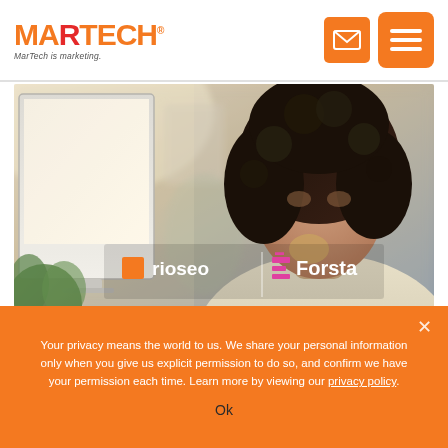MARTECH — MarTech is marketing.
[Figure (photo): Woman with curly hair sitting at a computer monitor, appearing thoughtful. Overlaid with Rio SEO and Forsta brand logos.]
Your privacy means the world to us. We share your personal information only when you give us explicit permission to do so, and confirm we have your permission each time. Learn more by viewing our privacy policy.
Ok